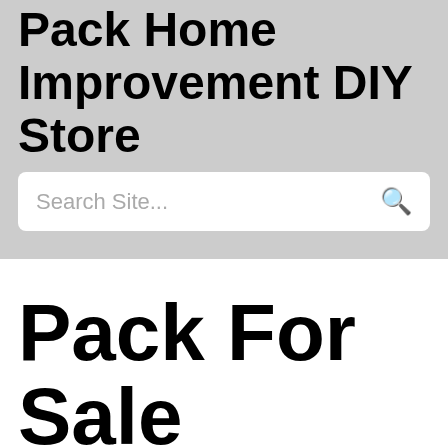Pack Home Improvement DIY Store
Search Site...
Pack For Sale